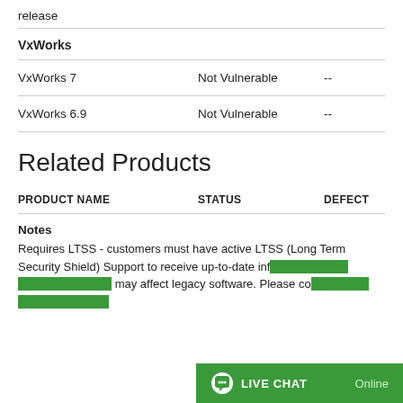release
VxWorks
|  |  |  |
| --- | --- | --- |
| VxWorks 7 | Not Vulnerable | -- |
| VxWorks 6.9 | Not Vulnerable | -- |
Related Products
| PRODUCT NAME | STATUS | DEFECT |
| --- | --- | --- |
Notes
Requires LTSS - customers must have active LTSS (Long Term Security Shield) Support to receive up-to-date information about vulnerabilities that may affect legacy software. Please co...